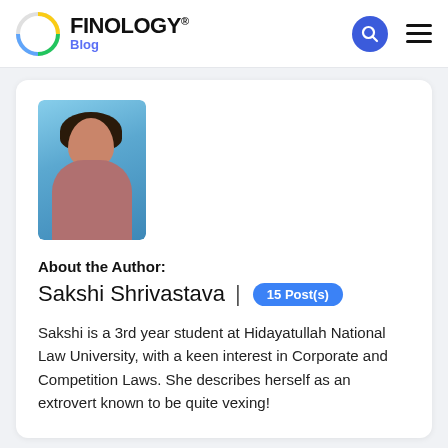FINOLOGY® Blog
[Figure (photo): Profile photo of Sakshi Shrivastava against a blue background]
About the Author:
Sakshi Shrivastava | 15 Post(s)
Sakshi is a 3rd year student at Hidayatullah National Law University, with a keen interest in Corporate and Competition Laws. She describes herself as an extrovert known to be quite vexing!